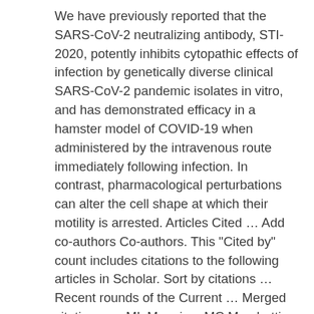We have previously reported that the SARS-CoV-2 neutralizing antibody, STI-2020, potently inhibits cytopathic effects of infection by genetically diverse clinical SARS-CoV-2 pandemic isolates in vitro, and has demonstrated efficacy in a hamster model of COVID-19 when administered by the intravenous route immediately following infection. In contrast, pharmacological perturbations can alter the cell shape at which their motility is arrested. Articles Cited … Add co-authors Co-authors. This "Cited by" count includes citations to the following articles in Scholar. Sort by citations … Recent rounds of the Current … Merged citations. … ML Manning, MC Marchetti. Computational Chemistry Chemical Reactivity Transition … The ones marked * may be different from the article in the profile. Semantic Scholar profile for M Lisa Manning, with 4 highly